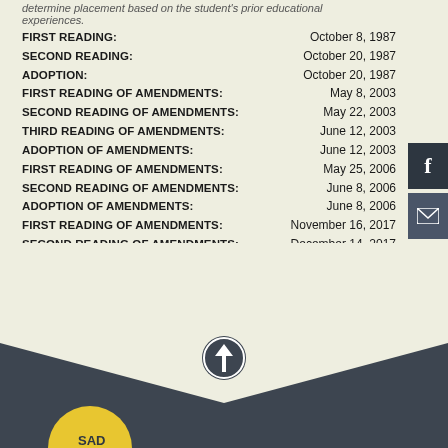determine placement based on the student's prior educational experiences.
FIRST READING: October 8, 1987
SECOND READING: October 20, 1987
ADOPTION: October 20, 1987
FIRST READING OF AMENDMENTS: May 8, 2003
SECOND READING OF AMENDMENTS: May 22, 2003
THIRD READING OF AMENDMENTS: June 12, 2003
ADOPTION OF AMENDMENTS: June 12, 2003
FIRST READING OF AMENDMENTS: May 25, 2006
SECOND READING OF AMENDMENTS: June 8, 2006
ADOPTION OF AMENDMENTS: June 8, 2006
FIRST READING OF AMENDMENTS: November 16, 2017
SECOND READING OF AMENDMENTS: December 14, 2017
ADOPTION OF AMENDMENTS: December 14, 2017
[Figure (illustration): Dark gray chevron/arrow pointing downward at the bottom of the page, with an upward-pointing circular arrow icon at the apex, and a partial SAD school district logo at the bottom left]